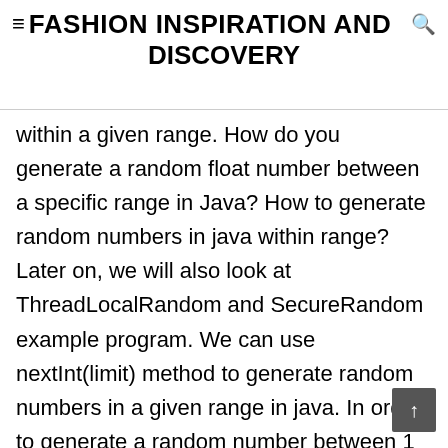≡ FASHION INSPIRATION AND DISCOVERY
within a given range. How do you generate a random float number between a specific range in Java? How to generate random numbers in java within range? Later on, we will also look at ThreadLocalRandom and SecureRandom example program. We can use nextInt(limit) method to generate random numbers in a given range in java. In order to generate a random number between 1 and 50 we create an object of java.util.Random class and call its nextInt() method with 50 as argument. Scanner class and its functions that 0 is used to obtain the